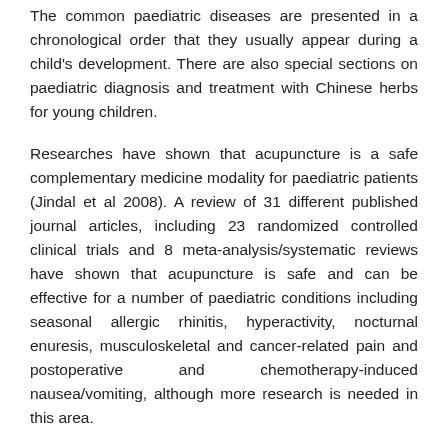The common paediatric diseases are presented in a chronological order that they usually appear during a child's development. There are also special sections on paediatric diagnosis and treatment with Chinese herbs for young children.
Researches have shown that acupuncture is a safe complementary medicine modality for paediatric patients (Jindal et al 2008). A review of 31 different published journal articles, including 23 randomized controlled clinical trials and 8 meta-analysis/systematic reviews have shown that acupuncture is safe and can be effective for a number of paediatric conditions including seasonal allergic rhinitis, hyperactivity, nocturnal enuresis, musculoskeletal and cancer-related pain and postoperative and chemotherapy-induced nausea/vomiting, although more research is needed in this area.